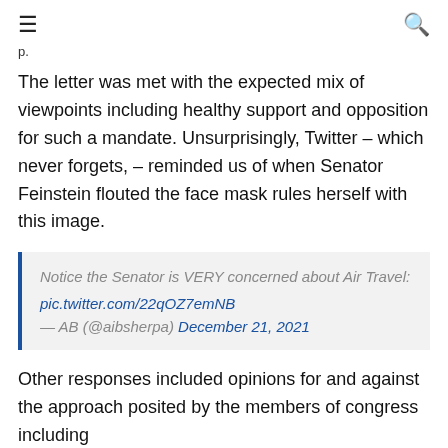≡  🔍
p.
The letter was met with the expected mix of viewpoints including healthy support and opposition for such a mandate. Unsurprisingly, Twitter – which never forgets, – reminded us of when Senator Feinstein flouted the face mask rules herself with this image.
Notice the Senator is VERY concerned about Air Travel: pic.twitter.com/22qOZ7emNB — AB (@aibsherpa) December 21, 2021
Other responses included opinions for and against the approach posited by the members of congress including these, with, at first glance, many taking positions against such a mandate.